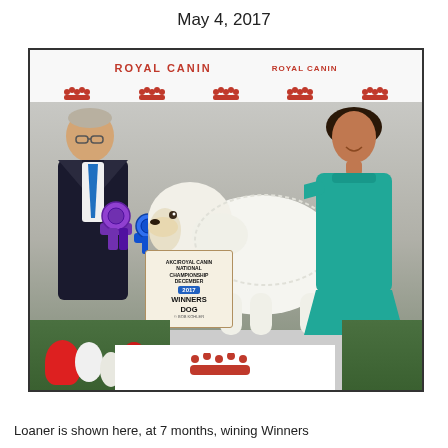May 4, 2017
[Figure (photo): Dog show photograph at AKC/Royal Canin National Championship. A large white fluffy dog (Great Pyrenees puppy, 7 months old) is being shown on a podium. A man in a dark suit holds blue and purple show ribbons, and a woman in a teal/turquoise dress poses with the dog. A sign reads 'AKC/ROYAL CANIN NATIONAL CHAMPIONSHIP DECEMBER 2017 WINNERS DOG'. Royal Canin branded backdrop is visible behind them, with flowers at the base of the podium.]
Loaner is shown here, at 7 months, wining Winners